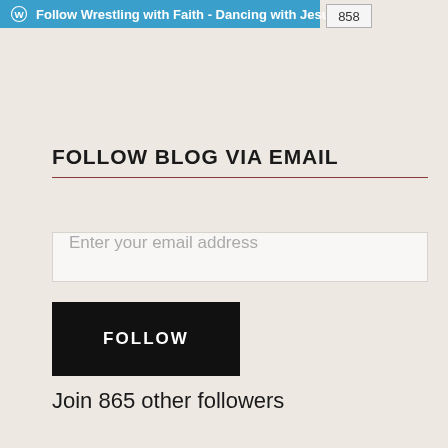[Figure (other): WordPress follow bar showing 'Follow Wrestling with Faith - Dancing with Jesus' with follower count 858]
FOLLOW BLOG VIA EMAIL
Enter your email address
FOLLOW
Join 865 other followers